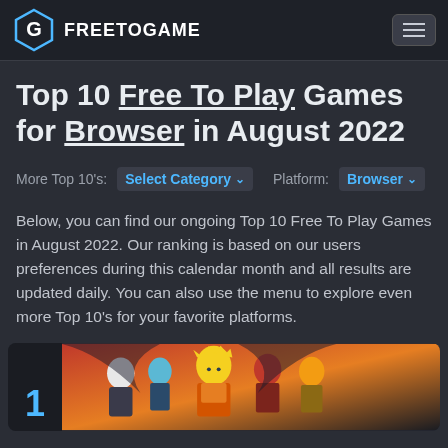FREETOGAME
Top 10 Free To Play Games for Browser in August 2022
More Top 10's: Select Category ▾  Platform: Browser ▾
Below, you can find our ongoing Top 10 Free To Play Games in August 2022. Our ranking is based on our users preferences during this calendar month and all results are updated daily. You can also use the menu to explore even more Top 10's for your favorite platforms.
[Figure (illustration): Anime-style game banner showing multiple characters from the #1 ranked browser game]